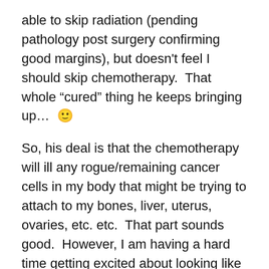able to skip radiation (pending pathology post surgery confirming good margins), but doesn't feel I should skip chemotherapy.  That whole “cured” thing he keeps bringing up…  🙂
So, his deal is that the chemotherapy will ill any rogue/remaining cancer cells in my body that might be trying to attach to my bones, liver, uterus, ovaries, etc. etc.  That part sounds good.  However, I am having a hard time getting excited about looking like a hairless cat and although I hope that tattoos will help cover the scarring left by a bilateral mastectomy, part of me is fearing that I will look like the bride of Frankenstein with large scars across an area of my body that used to be feminine and if I dare to sound full of myself, not so bad really.  In fact when I said this to Potions today, his comment was that he just saw a patient whose hair was growing back in curly and